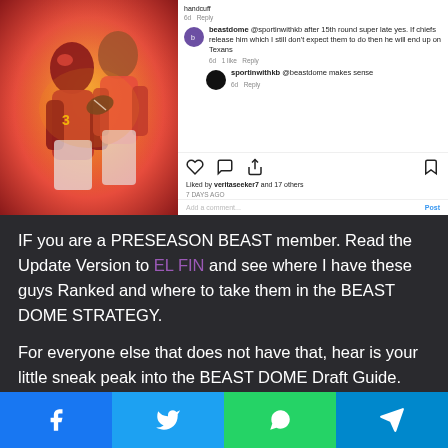[Figure (screenshot): Instagram post screenshot showing NFL players in red uniforms with comments. beastdome account replies: @sportinwithkb after 15th round super late yes. If chiefs release him which I still don't expect them to do then he will end up on Texans. sportinwithkb replies: @beastdome makes sense. Liked by veritaseeker7 and 17 others. 7 DAYS AGO.]
IF you are a PRESEASON BEAST member. Read the Update Version to EL FIN and see where I have these guys Ranked and where to take them in the BEAST DOME STRATEGY.
For everyone else that does not have that, hear is your little sneak peak into the BEAST DOME Draft Guide.
[Figure (infographic): Social share bar with Facebook, Twitter, WhatsApp, and Telegram icons]